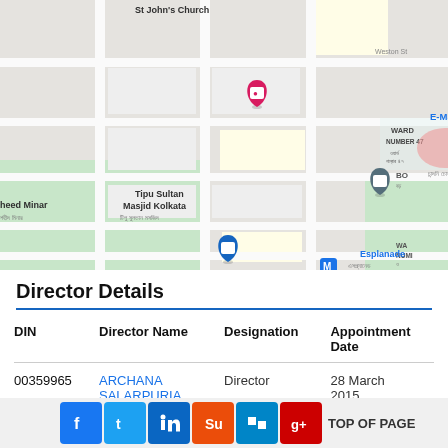[Figure (map): Google Maps screenshot showing area around Tipu Sultan Masjid Kolkata, Chandni Chowk, 4th Gate, E-Mall, Esplanade metro station, Shaheed Minar, St John's Church, Royale Touche, Ward Number 47]
Director Details
| DIN | Director Name | Designation | Appointment Date |
| --- | --- | --- | --- |
| 00359965 | ARCHANA SALARPURIA | Director | 28 March 2015 |